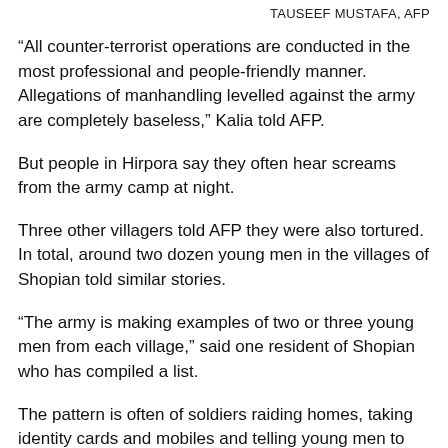TAUSEEF MUSTAFA, AFP
“All counter-terrorist operations are conducted in the most professional and people-friendly manner. Allegations of manhandling levelled against the army are completely baseless,” Kalia told AFP.
But people in Hirpora say they often hear screams from the army camp at night.
Three other villagers told AFP they were also tortured. In total, around two dozen young men in the villages of Shopian told similar stories.
“The army is making examples of two or three young men from each village,” said one resident of Shopian who has compiled a list.
The pattern is often of soldiers raiding homes, taking identity cards and mobiles and telling young men to